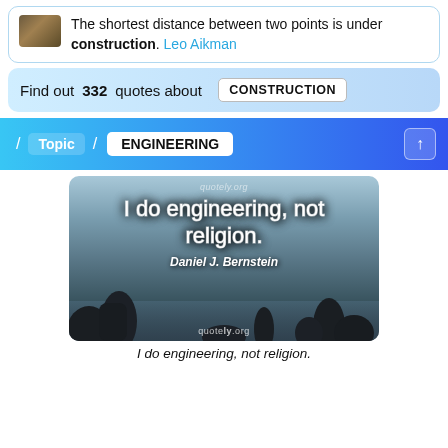The shortest distance between two points is under construction. Leo Aikman
Find out 332 quotes about CONSTRUCTION
/ Topic / ENGINEERING
[Figure (photo): Scenic coastal photo with large rock formations in ocean water, overlaid with quote text: 'I do engineering, not religion.' attributed to Daniel J. Bernstein, with quotely.org watermark]
I do engineering, not religion.